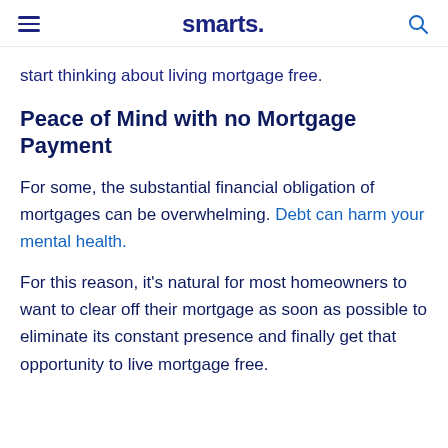smarts.
start thinking about living mortgage free.
Peace of Mind with no Mortgage Payment
For some, the substantial financial obligation of mortgages can be overwhelming. Debt can harm your mental health.
For this reason, it's natural for most homeowners to want to clear off their mortgage as soon as possible to eliminate its constant presence and finally get that opportunity to live mortgage free.